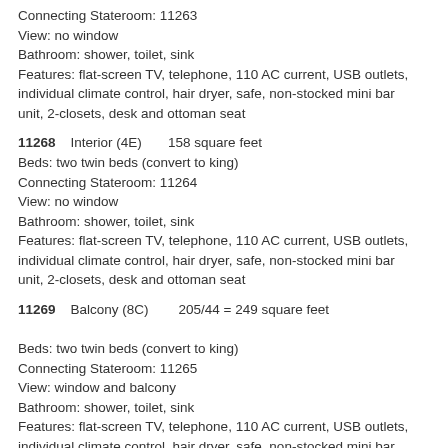Connecting Stateroom: 11263
View: no window
Bathroom: shower, toilet, sink
Features: flat-screen TV, telephone, 110 AC current, USB outlets, individual climate control, hair dryer, safe, non-stocked mini bar unit, 2-closets, desk and ottoman seat
11268    Interior (4E)         158 square feet
Beds: two twin beds (convert to king)
Connecting Stateroom: 11264
View: no window
Bathroom: shower, toilet, sink
Features: flat-screen TV, telephone, 110 AC current, USB outlets, individual climate control, hair dryer, safe, non-stocked mini bar unit, 2-closets, desk and ottoman seat
11269    Balcony (8C)          205/44 = 249 square feet
Beds: two twin beds (convert to king)
Connecting Stateroom: 11265
View: window and balcony
Bathroom: shower, toilet, sink
Features: flat-screen TV, telephone, 110 AC current, USB outlets, individual climate control, hair dryer, safe, non-stocked mini bar